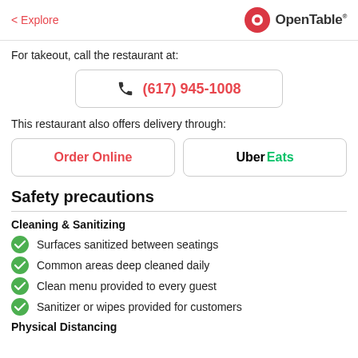< Explore  OpenTable
For takeout, call the restaurant at:
(617) 945-1008
This restaurant also offers delivery through:
Order Online
Uber Eats
Safety precautions
Cleaning & Sanitizing
Surfaces sanitized between seatings
Common areas deep cleaned daily
Clean menu provided to every guest
Sanitizer or wipes provided for customers
Physical Distancing